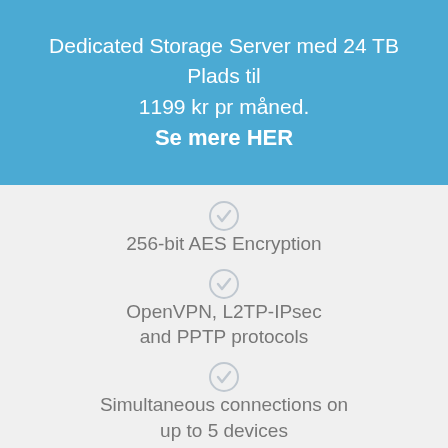Dedicated Storage Server med 24 TB Plads til 1199 kr pr måned.
Se mere HER
256-bit AES Encryption
OpenVPN, L2TP-IPsec and PPTP protocols
Simultaneous connections on up to 5 devices